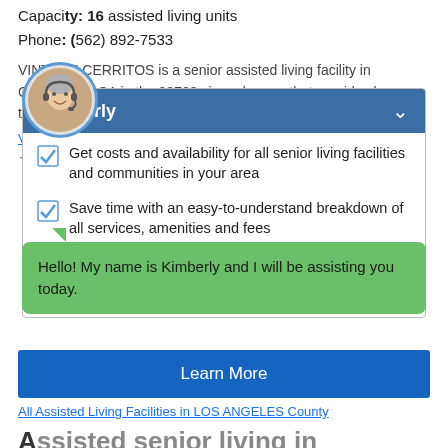Capacity: 16 assisted living units
Phone: (562) 892-7533
VINTAGE CERRITOS is a senior assisted living facility in CERRITOS, CA in the 90703 zip code area that provides long term care services. It is located in LOS ANGELES County.
View Pricing & Availability
[Figure (photo): Circular avatar photo of a woman wearing a headset]
[Figure (screenshot): Chat overlay with header 'Kimberly' and three checklist items about senior living services]
Get costs and availability for all senior living facilities and communities in your area
Save time with an easy-to-understand breakdown of all services, amenities and fees
Find the senior living facility or community that is perfect for you
Hello! My name is Kimberly and I will be assisting you today.
Learn More
All Assisted Living Facilities in LOS ANGELES County
Assisted senior living in Cerritos, California
Yes, I want to see pricing!
Senior years are often regarded as the time of declining